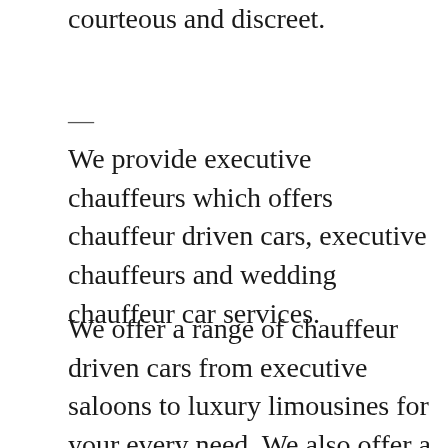courteous and discreet.
—
We provide executive chauffeurs which offers chauffeur driven cars, executive chauffeurs and wedding chauffeur car services.
We offer a range of chauffeur driven cars from executive saloons to luxury limousines for your every need. We also offer a full range of chauffeur services for any occasion, whether it's airport transfers or weddings. We can provide